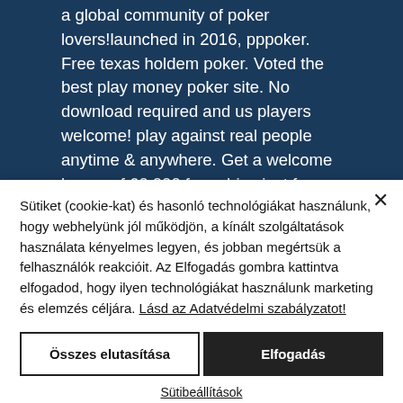a global community of poker lovers!launched in 2016, pppoker. Free texas holdem poker. Voted the best play money poker site. No download required and us players welcome! play against real people anytime &amp; anywhere. Get a welcome bonus of 60,000 free chips just for downloading! Play poker for real money online at ggpoker - the home of online poker. Visit ggpoker, install the app &amp; sign up to claim your 100% welcome
Sütiket (cookie-kat) és hasonló technológiákat használunk, hogy webhelyünk jól működjön, a kínált szolgáltatások használata kényelmes legyen, és jobban megértsük a felhasználók reakcióit. Az Elfogadás gombra kattintva elfogadod, hogy ilyen technológiákat használunk marketing és elemzés céljára. Lásd az Adatvédelmi szabályzatot!
Összes elutasítása
Elfogadás
Sütibeállítások